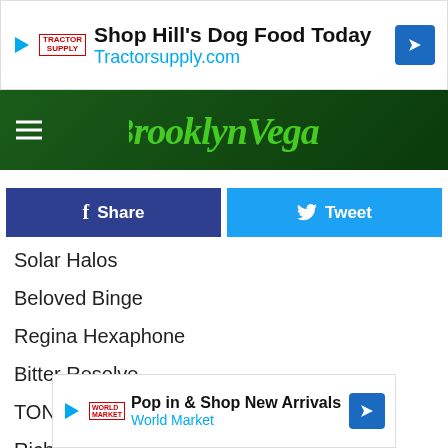[Figure (infographic): Tractor Supply Co advertisement: 'Shop Hill's Dog Food Today Tractorsupply.com']
[Figure (logo): BrooklynVegan website navigation header with hamburger menu and green logo]
Share
Tweet
Solar Halos
Beloved Binge
Regina Hexaphone
Bitter Resolve
TONK
Richard Bacchus & the Luckiest Girls
Morning Brigade
Prypyat
High A...
Horse...
[Figure (infographic): World Market advertisement: 'Pop in & Shop New Arrivals World Market']